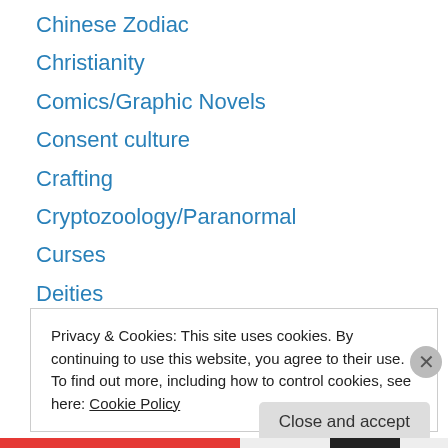Chinese Zodiac
Christianity
Comics/Graphic Novels
Consent culture
Crafting
Cryptozoology/Paranormal
Curses
Deities
Divination
divine masculine
Domestic magic
Dreams
Druidry
Privacy & Cookies: This site uses cookies. By continuing to use this website, you agree to their use.
To find out more, including how to control cookies, see here: Cookie Policy
Close and accept